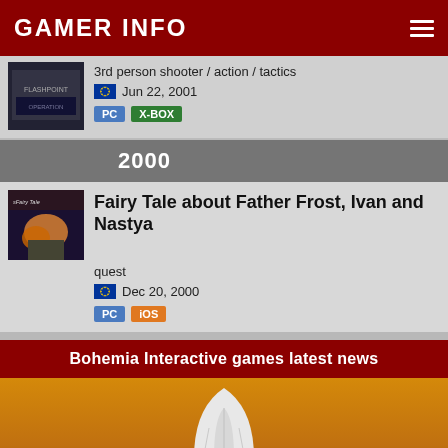GAMER INFO
3rd person shooter / action / tactics
Jun 22, 2001
PC  X-BOX
2000
Fairy Tale about Father Frost, Ivan and Nastya
quest
Dec 20, 2000
PC  iOS
Bohemia Interactive games latest news
[Figure (photo): A white rocket/lander spacecraft standing on a reddish-brown Martian surface under an orange sky]